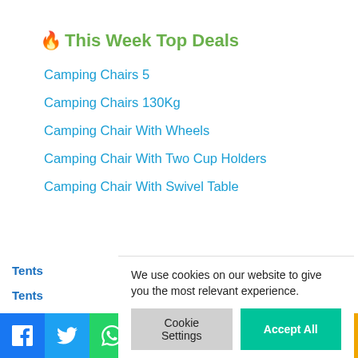🔥 This Week Top Deals
Camping Chairs 5
Camping Chairs 130Kg
Camping Chair With Wheels
Camping Chair With Two Cup Holders
Camping Chair With Swivel Table
Tents
Tents
Stoves
We use cookies on our website to give you the most relevant experience.
Cookie Settings | Accept All